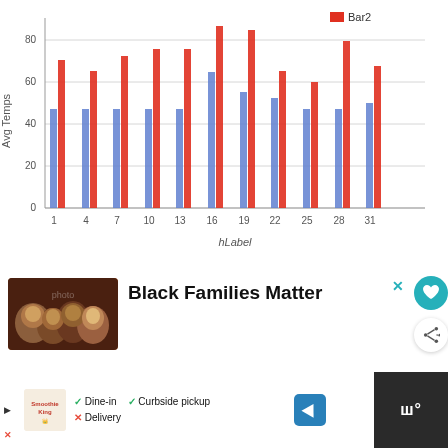[Figure (grouped-bar-chart): ]
Black Families Matter
WHAT'S NEXT Complete Thanksgivin...
Dine-in  Curbside pickup  Delivery